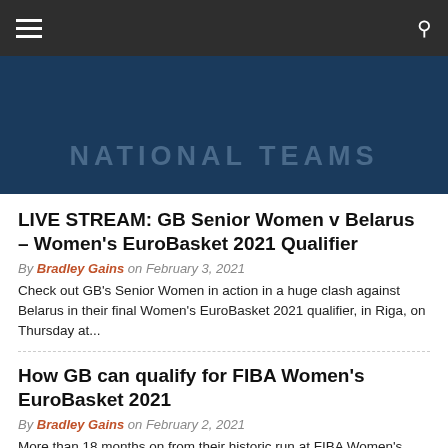NATIONAL TEAMS
LIVE STREAM: GB Senior Women v Belarus – Women's EuroBasket 2021 Qualifier
By Bradley Gains on February 3, 2021
Check out GB's Senior Women in action in a huge clash against Belarus in their final Women's EuroBasket 2021 qualifier, in Riga, on Thursday at...
How GB can qualify for FIBA Women's EuroBasket 2021
By Bradley Gains on February 2, 2021
More than 18 months on from their historic run at FIBA Women's EuroBasket 2019, GB still go to their fa...